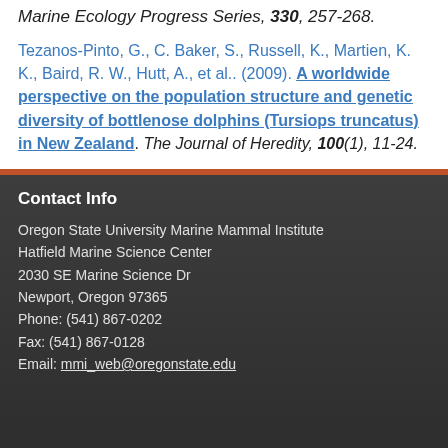Marine Ecology Progress Series, 330, 257-268.
Tezanos-Pinto, G., C. Baker, S., Russell, K., Martien, K. K., Baird, R. W., Hutt, A., et al.. (2009). A worldwide perspective on the population structure and genetic diversity of bottlenose dolphins (Tursiops truncatus) in New Zealand. The Journal of Heredity, 100(1), 11-24.
Contact Info
Oregon State University Marine Mammal Institute
Hatfield Marine Science Center
2030 SE Marine Science Dr
Newport, Oregon 97365
Phone: (541) 867-0202
Fax: (541) 867-0128
Email: mmi_web@oregonstate.edu